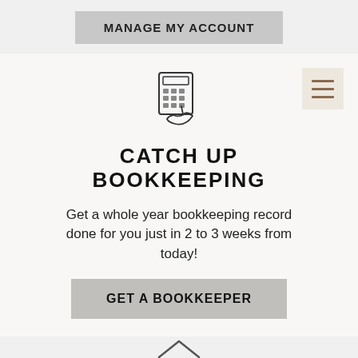MANAGE MY ACCOUNT
[Figure (illustration): Calculator with hand/finger icon]
[Figure (illustration): Hamburger menu icon button]
CATCH UP BOOKKEEPING
Get a whole year bookkeeping record done for you just in 2 to 3 weeks from today!
GET A BOOKKEEPER
[Figure (illustration): Partial house/roof icon at bottom]
Phone  Email  Contact Form